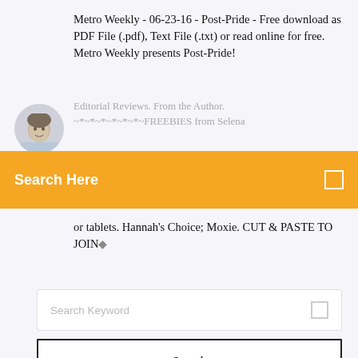Metro Weekly - 06-23-16 - Post-Pride - Free download as PDF File (.pdf), Text File (.txt) or read online for free. Metro Weekly presents Post-Pride!
Editorial Reviews. From the Author. ~*~*~*~*~*~*~FREEBIES from Selena
or tablets. Hannah's Choice; Moxie. CUT & PASTE TO JOIN◆
Search Here
Search Keyword
Search